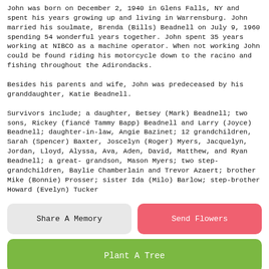John was born on December 2, 1940 in Glens Falls, NY and spent his years growing up and living in Warrensburg.  John married his soulmate, Brenda (Bills) Beadnell on July 9, 1960 spending 54 wonderful years together.  John spent 35 years working at NIBCO as a machine operator.  When not working John could be found riding his motorcycle down to the racino and fishing throughout the Adirondacks.
Besides his parents and wife, John was predeceased by his granddaughter, Katie Beadnell.
Survivors include; a daughter, Betsey (Mark) Beadnell; two sons, Rickey (fiancé Tammy Bapp) Beadnell and Larry (Joyce) Beadnell; daughter-in-law, Angie Bazinet; 12 grandchildren, Sarah (Spencer) Baxter, Joscelyn (Roger) Myers, Jacquelyn, Jordan, Lloyd, Alyssa, Ava, Aden, David, Matthew, and Ryan Beadnell; a great- grandson, Mason Myers; two step-grandchildren, Baylie Chamberlain and Trevor Azaert; brother Mike (Bonnie) Prosser; sister Ida (Milo) Barlow; step-brother Howard (Evelyn) Tucker
Share A Memory
Send Flowers
Plant A Tree